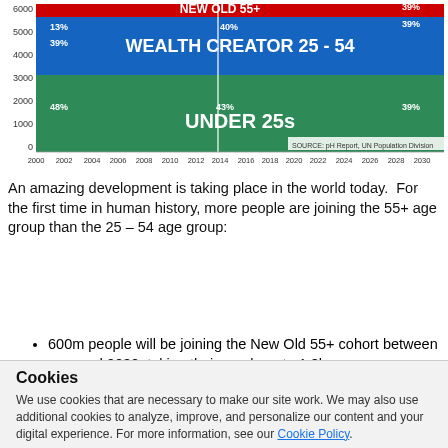[Figure (stacked-bar-chart): NEW OLD 55+ / WEALTH CREATOR 25-54 / UNDER 25s]
An amazing development is taking place in the world today.  For the first time in human history, more people are joining the 55+ age group than the 25 – 54 age group:
600m people will be joining the New Old 55+ cohort between now and 2030, taking their numbers to 1.8bn
This is twice the number joining the Wealth Creator
Cookies
We use cookies that are necessary to make our site work. We may also use additional cookies to analyze, improve, and personalize our content and your digital experience. For more information, see our Cookie Policy.